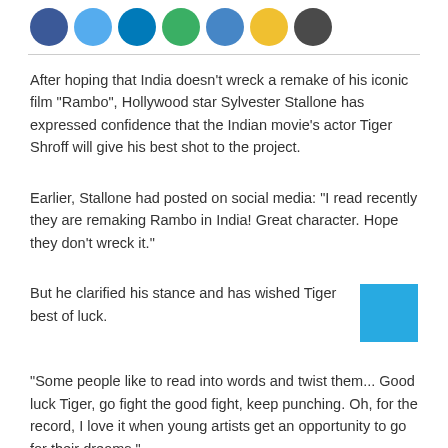[Figure (other): Row of seven colored social media share/action circles: dark blue, light blue, medium blue, green, blue, yellow, dark gray]
After hoping that India doesn't wreck a remake of his iconic film "Rambo", Hollywood star Sylvester Stallone has expressed confidence that the Indian movie's actor Tiger Shroff will give his best shot to the project.
Earlier, Stallone had posted on social media: "I read recently they are remaking Rambo in India! Great character. Hope they don't wreck it."
But he clarified his stance and has wished Tiger best of luck.
"Some people like to read into words and twist them... Good luck Tiger, go fight the good fight, keep punching. Oh, for the record, I love it when young artists get an opportunity to go for their dreams,"